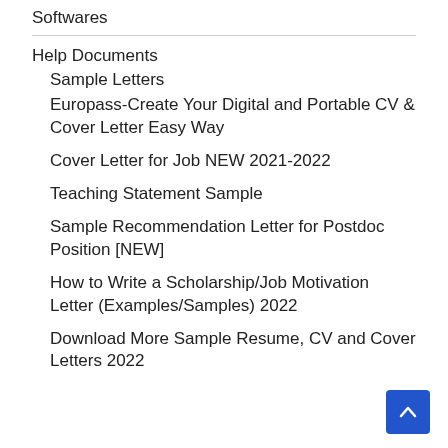Softwares
Help Documents
Sample Letters
Europass-Create Your Digital and Portable CV & Cover Letter Easy Way
Cover Letter for Job NEW 2021-2022
Teaching Statement Sample
Sample Recommendation Letter for Postdoc Position [NEW]
How to Write a Scholarship/Job Motivation Letter (Examples/Samples) 2022
Download More Sample Resume, CV and Cover Letters 2022